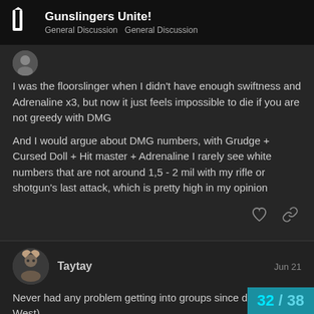Gunslingers Unite! — General Discussion  General Discussion
I was the floorslinger when I didn't have enough swiftness and Adrenaline x3, but now it just feels impossible to die if you are not greedy with DMG
And I would argue about DMG numbers, with Grudge + Cursed Doll + Hit master + Adrenaline I rarely see white numbers that are not around 1,5 - 2 mil with my rifle or shotgun's last attack, which is pretty high in my opinion
Taytay  Jun 21
Never had any problem getting into groups since day 1 (NA West)
32 / 38